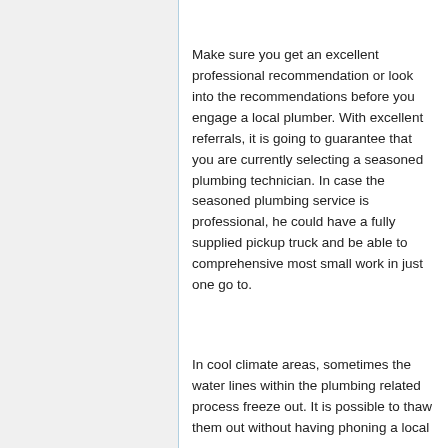Make sure you get an excellent professional recommendation or look into the recommendations before you engage a local plumber. With excellent referrals, it is going to guarantee that you are currently selecting a seasoned plumbing technician. In case the seasoned plumbing service is professional, he could have a fully supplied pickup truck and be able to comprehensive most small work in just one go to.
In cool climate areas, sometimes the water lines within the plumbing related process freeze out. It is possible to thaw them out without having phoning a local